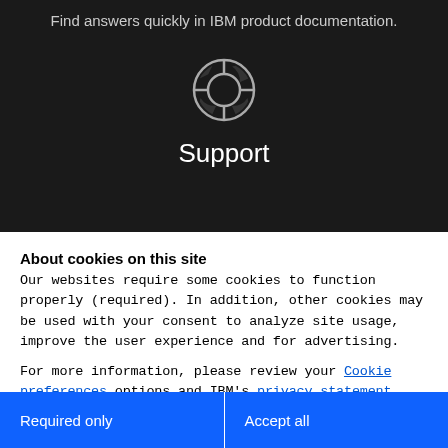Find answers quickly in IBM product documentation.
[Figure (illustration): Lifesaver / support ring icon, outline style, light gray on dark background]
Support
About cookies on this site
Our websites require some cookies to function properly (required). In addition, other cookies may be used with your consent to analyze site usage, improve the user experience and for advertising.
For more information, please review your Cookie preferences options and IBM's privacy statement.
Required only
Accept all